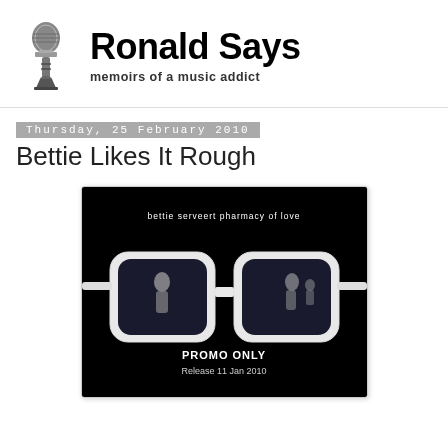[Figure (logo): Vintage microphone illustration used as site logo]
Ronald Says
memoirs of a music addict
Thursday, 25 February 2010
Bettie Likes It Rough
[Figure (photo): Album cover for Bettie Serveert 'Pharmacy of Love' — black cover with large white-framed sunglasses reflecting figures, text 'bettie serveert pharmacy of love' at top, 'PROMO ONLY Release 11 Jan 2010' at bottom]